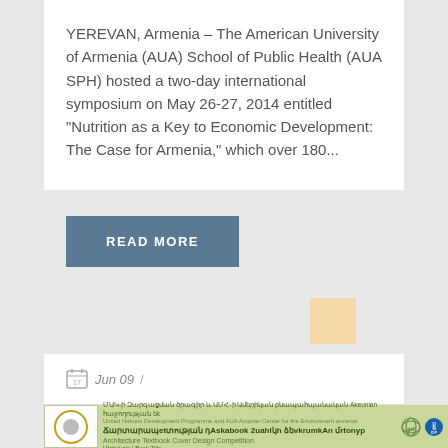YEREVAN, Armenia – The American University of Armenia (AUA) School of Public Health (AUA SPH) hosted a two-day international symposium on May 26-27, 2014 entitled "Nutrition as a Key to Economic Development: The Case for Armenia," which over 180...
READ MORE
[Figure (other): Small tan/beige square thumbnail image placeholder]
Jun 09 /
[Figure (other): Banner for Architecture Textbook Cover Design Competition by UNDP and AUA Acopian Center for the Environment. Text in Armenian and English. Logos of GEF and UNDP visible on right.]